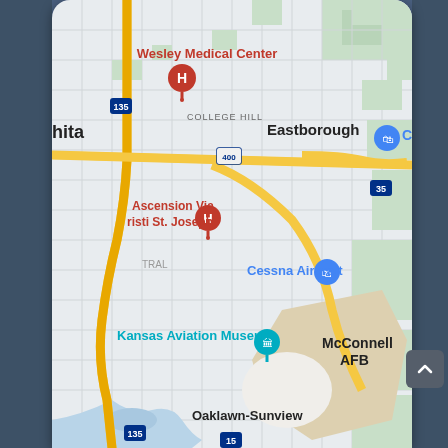[Figure (map): Google Maps screenshot showing Wichita, Kansas area including Wesley Medical Center (hospital marker), Ascension Via Christi St. Joseph hospital, Cessna Aircraft, Kansas Aviation Museum, McConnell AFB, Eastborough, College Hill neighborhood, Oaklawn-Sunview, and Costco. Roads include I-135, US-400, and I-35. Yellow highways visible running north-south and east-west.]